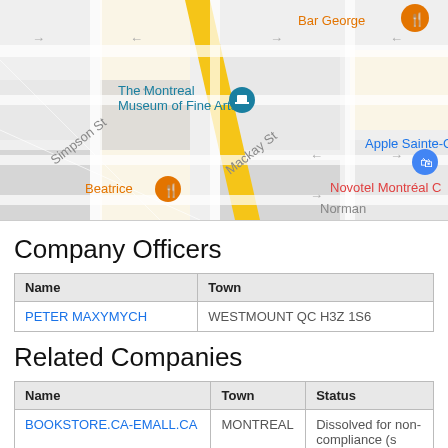[Figure (map): Google Maps screenshot showing area around The Montreal Museum of Fine Arts, with nearby landmarks: Bar George, Apple Sainte-Catherine, Novotel Montréal, Beatrice restaurant, streets including Simpson St and Mackay St, Norman area visible at bottom.]
Company Officers
| Name | Town |
| --- | --- |
| PETER MAXYMYCH | WESTMOUNT QC H3Z 1S6 |
Related Companies
| Name | Town | Status |
| --- | --- | --- |
| BOOKSTORE.CA-EMALL.CA | MONTREAL | Dissolved for non-compliance (s |